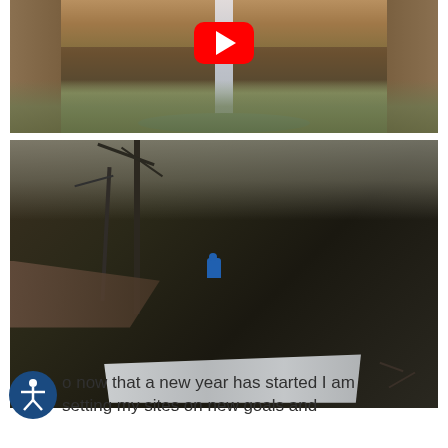[Figure (photo): A waterfall cascading down a sandstone cliff into a pool below, with a YouTube play button overlay in the center top area indicating an embedded video thumbnail.]
[Figure (photo): A person in a blue jacket standing near rushing rapids or a waterfall in a rocky wooded gorge in winter. Bare trees visible on the left, rocky cliff walls on the right, white water rapids in the foreground.]
o now that a new year has started I am setting my sites on new goals and